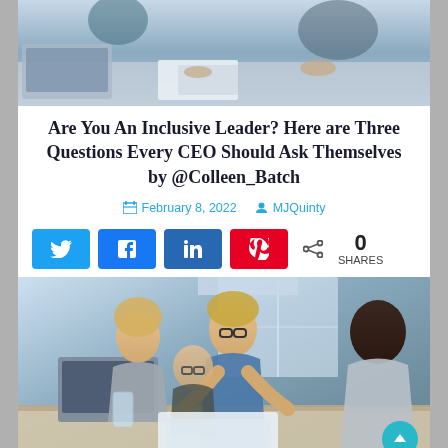[Figure (photo): Office meeting scene from above — people around a table with laptops and documents, partial view]
Are You An Inclusive Leader? Here are Three Questions Every CEO Should Ask Themselves by @Colleen_Batch
February 8, 2022   MJQuinty
[Figure (infographic): Social share buttons: Twitter (light blue), Facebook (blue), LinkedIn (dark blue), Pinterest (red), share icon, 0 SHARES]
[Figure (photo): Diverse business team meeting — woman with glasses leaning over table presenting to colleagues in a bright office]